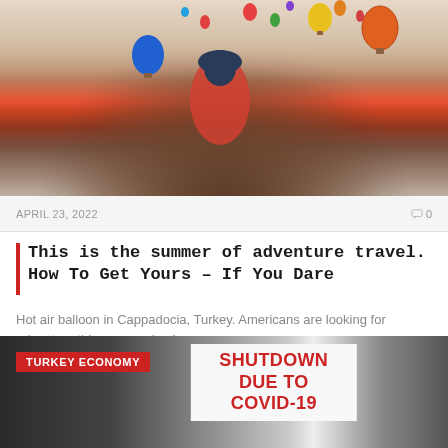[Figure (photo): Woman in red dress viewed from behind, wearing a hat, overlooking Cappadocia, Turkey with numerous hot air balloons in the sky]
APRIL 23, 2022
0
This is the summer of adventure travel. How To Get Yours – If You Dare
Hot air balloon in Cappadocia, Turkey. Americans are looking for adventure this summer in places…
[Figure (photo): Dark storefront with a white sign reading SHUTDOWN DUE TO COVID-19 in red text, with a TURKEY ECONOMY tag label in red]